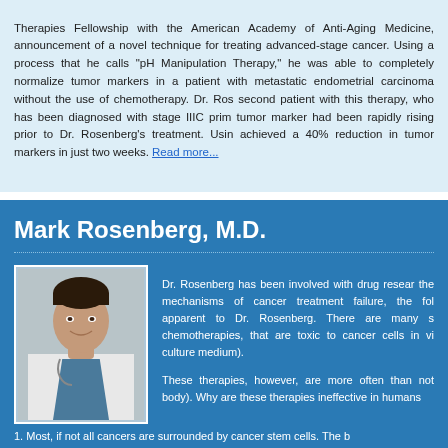Therapies Fellowship with the American Academy of Anti-Aging Medicine, announcement of a novel technique for treating advanced-stage cancer. Using a process that he calls "pH Manipulation Therapy," he was able to completely normalize tumor markers in a patient with metastatic endometrial carcinoma without the use of chemotherapy. Dr. Rosenberg is treating a second patient with this therapy, who has been diagnosed with stage IIIC primary peritoneal, tumor marker had been rapidly rising prior to Dr. Rosenberg's treatment. Using this therapy, he achieved a 40% reduction in tumor markers in just two weeks. Read more...
Mark Rosenberg, M.D.
[Figure (photo): Professional headshot of Dr. Mark Rosenberg wearing a white lab coat]
Dr. Rosenberg has been involved with drug research and has become very interested in the mechanisms of cancer treatment failure, the following has become very apparent to Dr. Rosenberg. There are many substances, including some chemotherapies, that are toxic to cancer cells in vitro (in a petri dish or cell culture medium).
These therapies, however, are more often than not... body). Why are these therapies ineffective in humans...
1. Most, if not all cancers are surrounded by cancer stem cells. The b...